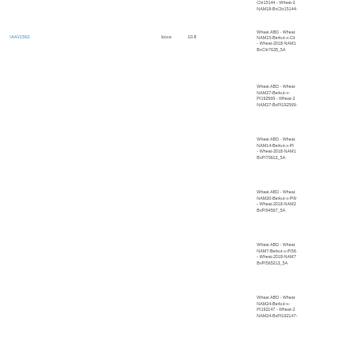| Marker | Type | Value | Dataset |
| --- | --- | --- | --- |
|  |  |  | Cltr15144 - Wheat-2018-NAM18-BxCltr15144- |
| IAAV1592 | locus | 10.8 | Wheat ABD - Wheat-2018-NAM15-Berkut-x-Cltr - Wheat-2018-NAM15-BxCltr7635_5A |
|  |  |  | Wheat ABD - Wheat-2018-NAM27-Berkut-x-PI192569 - Wheat-2018-NAM27-BxPI192569- |
|  |  |  | Wheat ABD - Wheat-2018-NAM14-Berkut-x-PI - Wheat-2018-NAM14-BxPI70613_5A |
|  |  |  | Wheat ABD - Wheat-2018-NAM20-Berkut-x-PI9 - Wheat-2018-NAM20-BxPI94567_5A |
|  |  |  | Wheat ABD - Wheat-2018-NAM7-Berkut-x-PI56 - Wheat-2018-NAM7-BxPI565213_5A |
|  |  |  | Wheat ABD - Wheat-2018-NAM24-Berkut-x-PI192147 - Wheat-2018-NAM24-BxPI192147- |